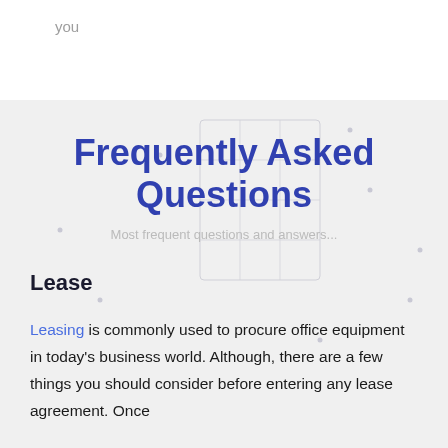you
Frequently Asked Questions
Most frequent questions and answers...
Lease
Leasing is commonly used to procure office equipment in today's business world. Although, there are a few things you should consider before entering any lease agreement. Once